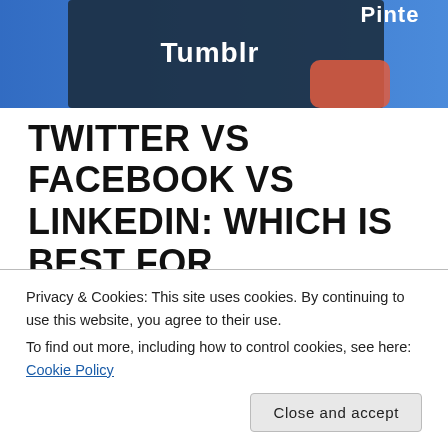[Figure (photo): Close-up of a smartphone screen showing social media app icons including Tumblr and Pinterest on a blue background.]
TWITTER VS FACEBOOK VS LINKEDIN: WHICH IS BEST FOR MARKETING?
In my last article, I looked at seven key aspects of a good social marketing strategy for businesses. This time I'm taking a closer look at three main platforms that businesses use — LinkedIn, Twitter and Facebook — and comparing them. Everybody knows using social
Privacy & Cookies: This site uses cookies. By continuing to use this website, you agree to their use.
To find out more, including how to control cookies, see here: Cookie Policy
Close and accept